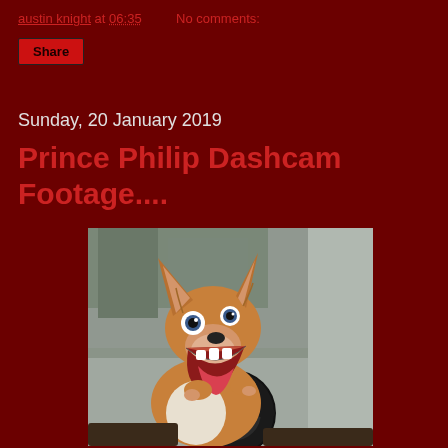austin knight at 06:35   No comments:
Share
Sunday, 20 January 2019
Prince Philip Dashcam Footage....
[Figure (photo): A corgi dog sitting in the driver's seat of a car, paws on the steering wheel, mouth wide open as if barking or surprised]